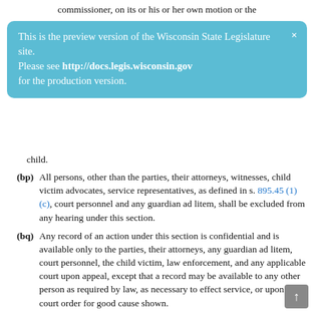commissioner, on its or his or her own motion or the
[Figure (screenshot): Preview banner for Wisconsin State Legislature site with text: 'This is the preview version of the Wisconsin State Legislature site. Please see http://docs.legis.wisconsin.gov for the production version.']
child.
(bp) All persons, other than the parties, their attorneys, witnesses, child victim advocates, service representatives, as defined in s. 895.45 (1) (c), court personnel and any guardian ad litem, shall be excluded from any hearing under this section.
(bq) Any record of an action under this section is confidential and is available only to the parties, their attorneys, any guardian ad litem, court personnel, the child victim, law enforcement, and any applicable court upon appeal, except that a record may be available to any other person as required by law, as necessary to effect service, or upon a court order for good cause shown.
(c) An action under this section may pertain to more than one child victim.
(4) Temporary restraining order.
(a) A judge or circuit court commissioner shall issue a temporary restraining order ordering the respondent to avoid the child victim's residence or any premises temporarily occupied by